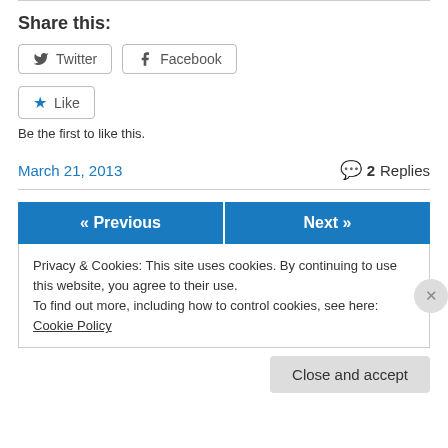Share this:
Twitter  Facebook
Like
Be the first to like this.
March 21, 2013
2 Replies
« Previous  Next »
Privacy & Cookies: This site uses cookies. By continuing to use this website, you agree to their use.
To find out more, including how to control cookies, see here: Cookie Policy
Close and accept